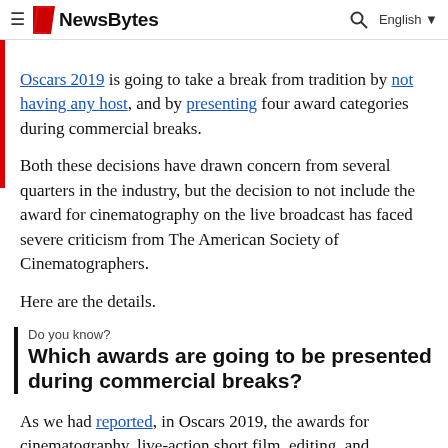NewsBytes — English
Oscars 2019 is going to take a break from tradition by not having any host, and by presenting four award categories during commercial breaks.
Both these decisions have drawn concern from several quarters in the industry, but the decision to not include the award for cinematography on the live broadcast has faced severe criticism from The American Society of Cinematographers.
Here are the details.
Do you know?
Which awards are going to be presented during commercial breaks?
As we had reported, in Oscars 2019, the awards for cinematography, live-action short film, editing, and